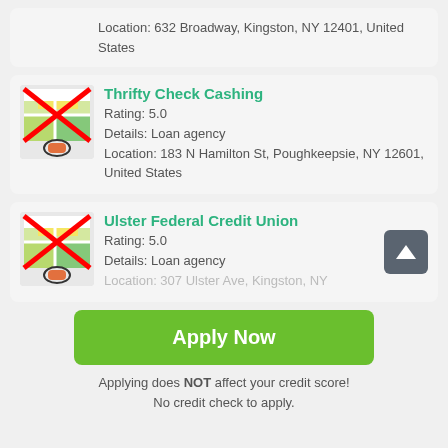Location: 632 Broadway, Kingston, NY 12401, United States
Thrifty Check Cashing
Rating: 5.0
Details: Loan agency
Location: 183 N Hamilton St, Poughkeepsie, NY 12601, United States
Ulster Federal Credit Union
Rating: 5.0
Details: Loan agency
Location: 307 Ulster Ave, Kingston, NY...
Apply Now
Applying does NOT affect your credit score!
No credit check to apply.